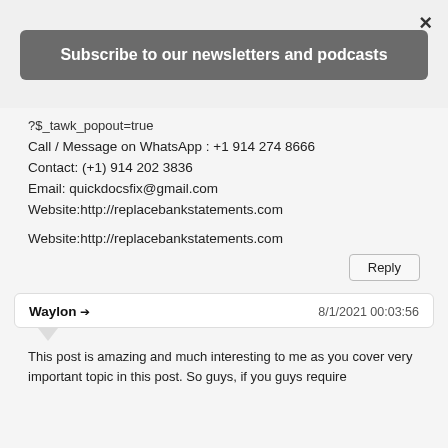×
Subscribe to our newsletters and podcasts
?$_tawk_popout=true
Call / Message on WhatsApp : +1 914 274 8666
Contact: (+1) 914 202 3836
Email: quickdocsfix@gmail.com
Website:http://replacebankstatements.com
Website:http://replacebankstatements.com
Reply
Waylon → 8/1/2021 00:03:56
This post is amazing and much interesting to me as you cover very important topic in this post. So guys, if you guys require